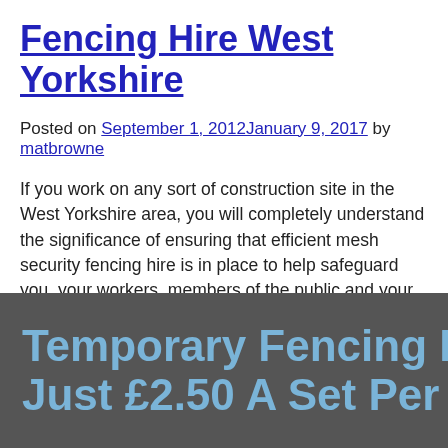Fencing Hire West Yorkshire
Posted on September 1, 2012January 9, 2017 by matbrowne
If you work on any sort of construction site in the West Yorkshire area, you will completely understand the significance of ensuring that efficient mesh security fencing hire is in place to help safeguard you, your workers, members of the public and your equipment. 08447742125
[Figure (infographic): Dark grey banner with light blue bold text reading 'Temporary Fencing Fro...' and 'Just £2.50 A Set Per Wee...' (text cut off on right side)]